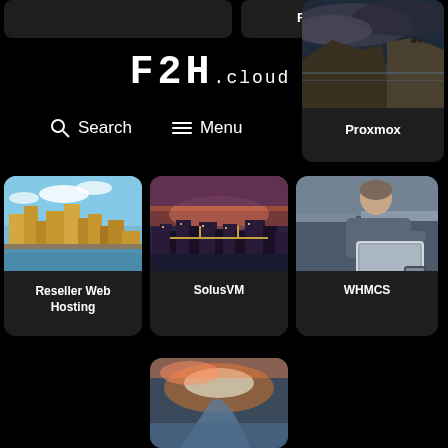[Figure (screenshot): F2H.cloud website header with logo]
F2H.CLOUD
🔍 Search  ≡ Menu
[Figure (photo): Proxmox - coastal cliffs with stormy sky]
Proxmox
[Figure (photo): Reseller Web Hosting - city skyline with river]
Reseller Web Hosting
[Figure (photo): SolusVM - city at dusk reflected in water]
SolusVM
[Figure (photo): WHMCS - person working on laptop outdoors]
WHMCS
[Figure (photo): Aerial coastal landscape with river mouth - partial view]